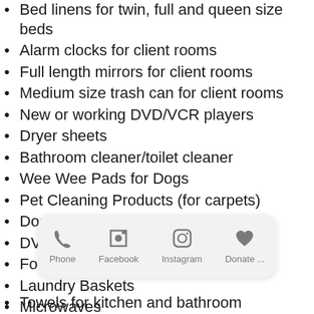Bed linens for twin, full and queen size beds
Alarm clocks for client rooms
Full length mirrors for client rooms
Medium size trash can for client rooms
New or working DVD/VCR players
Dryer sheets
Bathroom cleaner/toilet cleaner
Wee Wee Pads for Dogs
Pet Cleaning Products (for carpets)
Dog leashes
DVDs
Food Storage Containers
Laundry Baskets
Microwaves
Toasters
Crockpots
Utensils for cooking and eating
[Figure (screenshot): Mobile app bottom toolbar with Phone, Facebook, Instagram, Donate... icons]
Towels for kitchen and bathroom